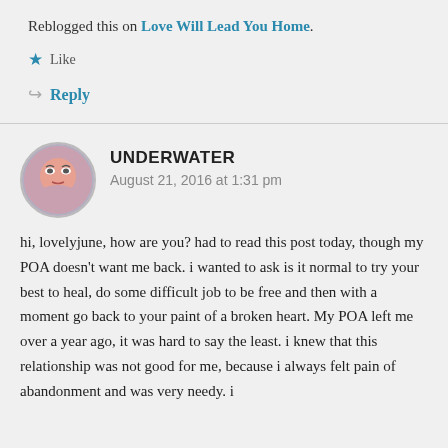Reblogged this on Love Will Lead You Home.
★ Like
↪ Reply
UNDERWATER
August 21, 2016 at 1:31 pm
hi, lovelyjune, how are you? had to read this post today, though my POA doesn't want me back. i wanted to ask is it normal to try your best to heal, do some difficult job to be free and then with a moment go back to your paint of a broken heart. My POA left me over a year ago, it was hard to say the least. i knew that this relationship was not good for me, because i always felt pain of abandonment and was very needy. i